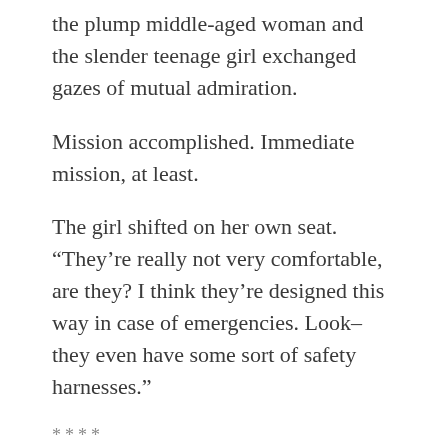the plump middle-aged woman and the slender teenage girl exchanged gazes of mutual admiration.
Mission accomplished. Immediate mission, at least.
The girl shifted on her own seat. “They’re really not very comfortable, are they? I think they’re designed this way in case of emergencies. Look–they even have some sort of safety harnesses.”
****
The spirited discussion Charlotte was having with Madame Duchesne drew her father’s attention. He’d left off his discussion with Mr. and Mrs. Shankar and taken a seat between